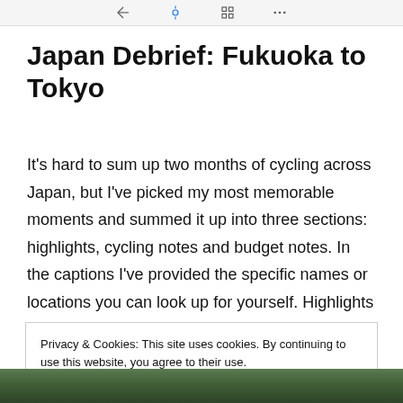[browser navigation bar with icons]
Japan Debrief: Fukuoka to Tokyo
It's hard to sum up two months of cycling across Japan, but I've picked my most memorable moments and summed it up into three sections: highlights, cycling notes and budget notes. In the captions I've provided the specific names or locations you can look up for yourself. Highlights Food is always … Continue reading →
Privacy & Cookies: This site uses cookies. By continuing to use this website, you agree to their use.
To find out more, including how to control cookies, see here: Cookie Policy
Close and accept
[Figure (photo): Green foliage / forest photo strip at the bottom of the page]